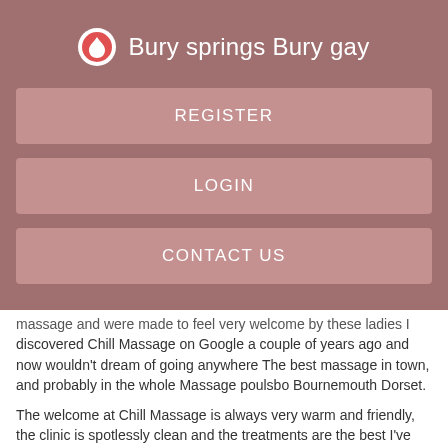Bury springs Bury gay
REGISTER
LOGIN
CONTACT US
massage and were made to feel very welcome by these ladies I discovered Chill Massage on Google a couple of years ago and now wouldn't dream of going anywhere The best massage in town, and probably in the whole Massage poulsbo Bournemouth Dorset.
The welcome at Chill Massage is always very warm and friendly, the clinic is spotlessly clean and the treatments are the best I've had outside Thailand.